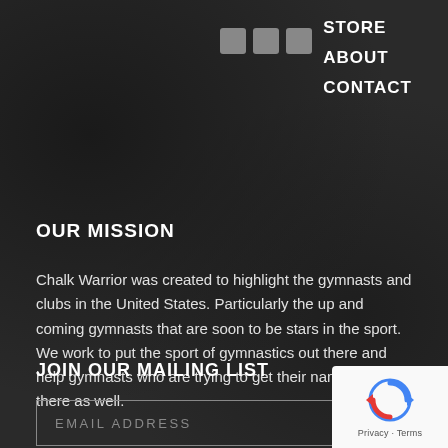[Figure (other): Three small grey square icon boxes in a row (navigation/menu icons)]
STORE
ABOUT
CONTACT
OUR MISSION
Chalk Warrior was created to highlight the gymnasts and clubs in the United States. Particularly the up and coming gymnasts that are soon to be stars in the sport. We work to put the sport of gymnastics out there and help gymnasts who are trying to get their names out there as well.
JOIN OUR MAILING LIST
EMAIL ADDRESS
[Figure (logo): reCAPTCHA badge with rotating arrows logo, Privacy - Terms text]